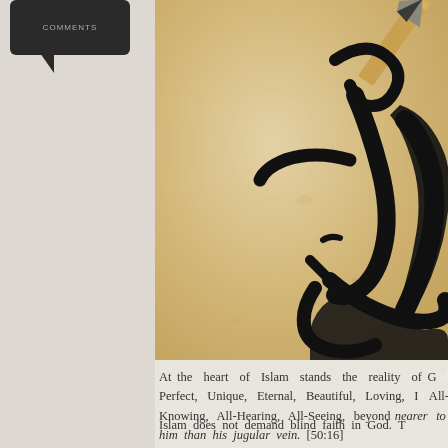[Figure (screenshot): Dark speech bubble / label at top left of the page on a gray sidebar]
[Figure (photo): Close-up photograph of Arabic calligraphy being drawn with a pencil on aged/tan paper. Bold black Arabic script fills the right portion of the image.]
At the heart of Islam stands the reality of G[od...] Perfect, Unique, Eternal, Beautiful, Loving, [In]finite, All-Knowing, All-Hearing, All-Seeing, beyond [...] nearer to him than his jugular vein. [50:16]
Islam does not demand blind faith in God. T[he...]